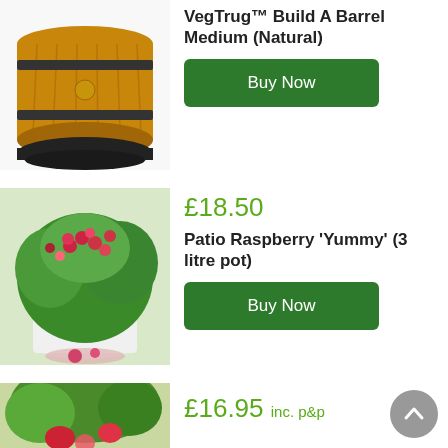[Figure (photo): Wooden barrel planter (VegTrug Build A Barrel Medium Natural) — light wood with dark metal bands and black base]
VegTrug™ Build A Barrel Medium (Natural)
Buy Now
[Figure (photo): Patio raspberry plant 'Yummy' in a white pot with red raspberries, displayed on a decorative setting]
£18.50
Patio Raspberry 'Yummy' (3 litre pot)
Buy Now
[Figure (photo): Partial view of a strawberry plant with fruit — bottom of page]
£16.95 inc. p&p